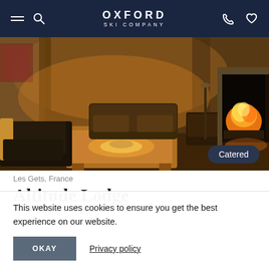OXFORD SKI COMPANY
[Figure (photo): Interior of a ski lodge lounge with warm lighting, wooden coffee table, dark sofas, curtains, and a fireplace on the right. A 'Catered' badge is overlaid in the bottom-right corner.]
Les Gets, France
Altitude Lodge
This website uses cookies to ensure you get the best experience on our website.
OKAY   Privacy policy